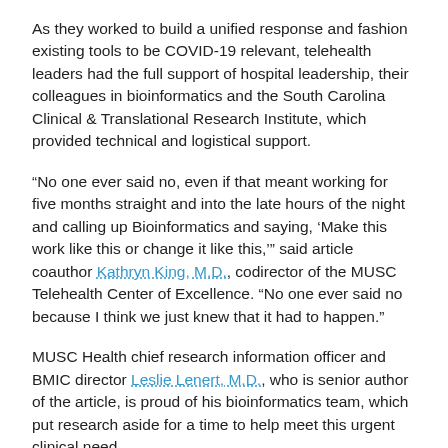As they worked to build a unified response and fashion existing tools to be COVID-19 relevant, telehealth leaders had the full support of hospital leadership, their colleagues in bioinformatics and the South Carolina Clinical & Translational Research Institute, which provided technical and logistical support.
“No one ever said no, even if that meant working for five months straight and into the late hours of the night and calling up Bioinformatics and saying, ‘Make this work like this or change it like this,’” said article coauthor Kathryn King, M.D., codirector of the MUSC Telehealth Center of Excellence. “No one ever said no because I think we just knew that it had to happen.”
MUSC Health chief research information officer and BMIC director Leslie Lenert, M.D., who is senior author of the article, is proud of his bioinformatics team, which put research aside for a time to help meet this urgent clinical need.
“We took the research capacity we had for EPIC support and improvement, and we told them to stop, and we put them on this